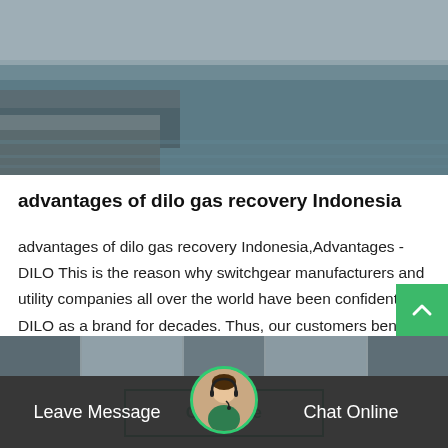[Figure (photo): Aerial or waterfront photo of a bridge and river/bay, hazy cityscape in background. Watermark 'SF6China' in orange text at bottom right.]
advantages of dilo gas recovery Indonesia
advantages of dilo gas recovery Indonesia,Advantages - DILO This is the reason why switchgear manufacturers and utility companies all over the world have been confident in DILO as a brand for decades. Thus, our customers benefit from. Emission-free SF 6 g…
Get Price
[Figure (photo): Thumbnail strip of industrial/equipment images at bottom.]
Leave Message
Chat Online